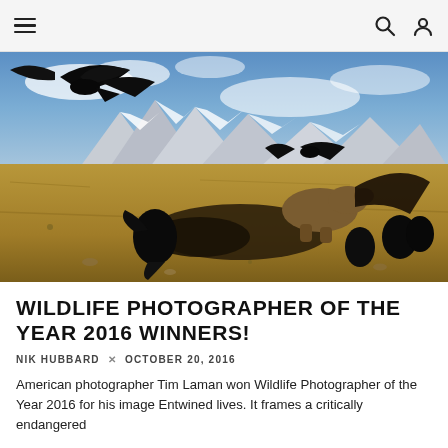≡   🔍  👤
[Figure (photo): Wildlife photograph showing a grizzly bear among ravens/crows on a carcass in an open prairie landscape, with snow-capped mountains in the background and a dramatic sky. Multiple large black birds (ravens) are flying and perched around the scene.]
WILDLIFE PHOTOGRAPHER OF THE YEAR 2016 WINNERS!
NIK HUBBARD × OCTOBER 20, 2016
American photographer Tim Laman won Wildlife Photographer of the Year 2016 for his image Entwined lives. It frames a critically endangered